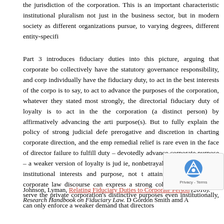the jurisdiction of the corporation. This is an important characteristic institutional pluralism not just in the business sector, but in modern society as different organizations pursue, to varying degrees, different entity-specifi
Part 3 introduces fiduciary duties into this picture, arguing that corporate bo collectively have the statutory governance responsibility, and cor individually have the fiduciary duty, to act in the best interests of the corpo is to say, to act to advance the purposes of the corporation, whatever they stated most strongly, the directorial fiduciary duty of loyalty is to act in the the corporation (a distinct person) by affirmatively advancing the arti purpose(s). But to fully explain the policy of strong judicial defer prerogative and discretion in charting corporate direction, and the emp remedial relief is rare even in the face of director failure to fulfill duty – devotedly advance corporate purpose – a weaker version of loyalty is judi ie, nonbetrayal of the corporation's institutional interests and purpose, not th attainment. In this way, corporate law discourse can express a strong coher directors loyally serve the private corporation's distinctive purposes even institutionally, can only enforce a weaker demand that directors
Johnson, Lyman, Relating Fiduciary Duties to Corporate Person (2016). Research Handbook on Fiduciary Law. D Gordon Smith amd A